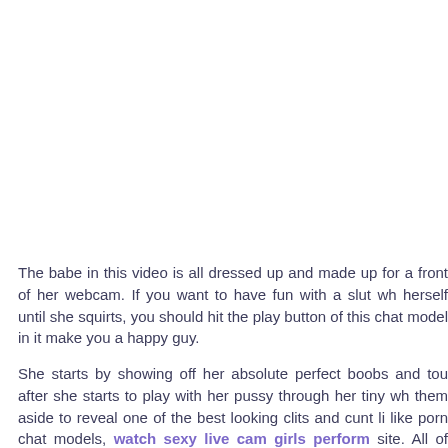The babe in this video is all dressed up and made up for a front of her webcam. If you want to have fun with a slut wh herself until she squirts, you should hit the play button of this chat model in it make you a happy guy.
She starts by showing off her absolute perfect boobs and tou after she starts to play with her pussy through her tiny wh them aside to reveal one of the best looking clits and cunt li like porn chat models, watch sexy live cam girls perform site. All of them are just as hot and horny as this one and t night.